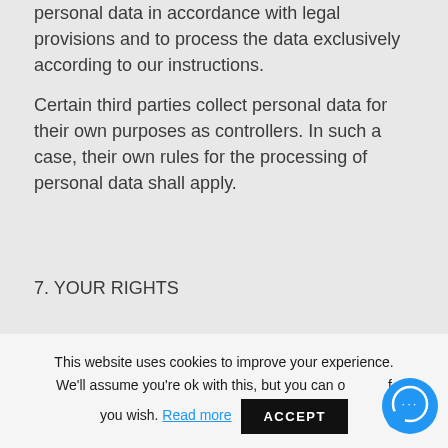personal data in accordance with legal provisions and to process the data exclusively according to our instructions.
Certain third parties collect personal data for their own purposes as controllers. In such a case, their own rules for the processing of personal data shall apply.
7. YOUR RIGHTS
You can exercise all your rights mentioned below, including your right to erasure of personal data and the withdrawal of your
This website uses cookies to improve your experience. We'll assume you're ok with this, but you can opt-out if you wish. Read more ACCEPT